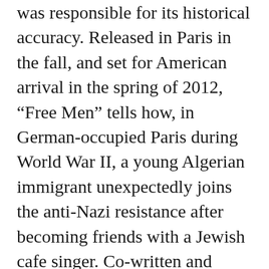was responsible for its historical accuracy. Released in Paris in the fall, and set for American arrival in the spring of 2012, “Free Men” tells how, in German-occupied Paris during World War II, a young Algerian immigrant unexpectedly joins the anti-Nazi resistance after becoming friends with a Jewish cafe singer. Co-written and directed by Ismaël Ferroukhi, a Frenchman born in Morocco, “Free Men” is inspired by real-life episodes in which Si Kaddour Ben Ghabrit, an Algerian-born high-society lover of the arts who served as the rector of the Great Mosque of Paris, managed to save the life of Jewish singer Salim Halali, who would later become a